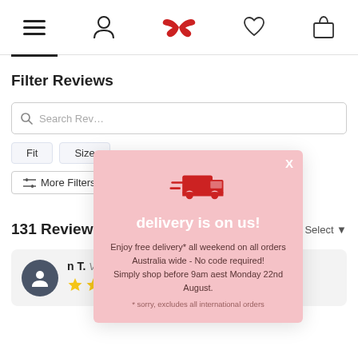[Figure (screenshot): Navigation bar with hamburger menu, person/account icon, red bird logo, heart/wishlist icon, and shopping bag icon]
Filter Reviews
[Figure (screenshot): Search bar with magnifying glass and placeholder text 'Search Rev...']
Fit
Size
More Filters
131 Reviews
Sort: Select
[Figure (infographic): Promotional modal popup with pink background showing a delivery truck icon, text 'delivery is on us!', body text about free delivery all weekend on all orders Australia wide with no code required, simply shop before 9am aest Monday 22nd August, footnote: * sorry, excludes all international orders]
n T. Verified Buyer
[Figure (other): Star rating showing 2 out of 5 stars (2 filled yellow stars, 3 empty)]